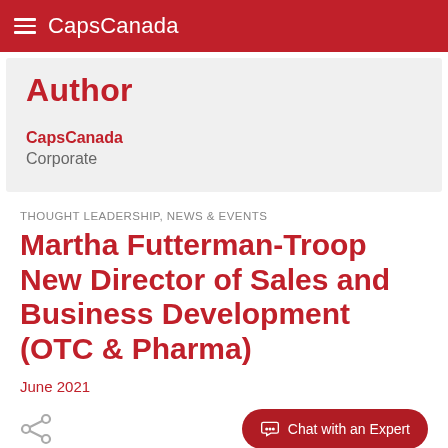CapsCanada
Author
CapsCanada
Corporate
THOUGHT LEADERSHIP, NEWS & EVENTS
Martha Futterman-Troop New Director of Sales and Business Development (OTC & Pharma)
June 2021